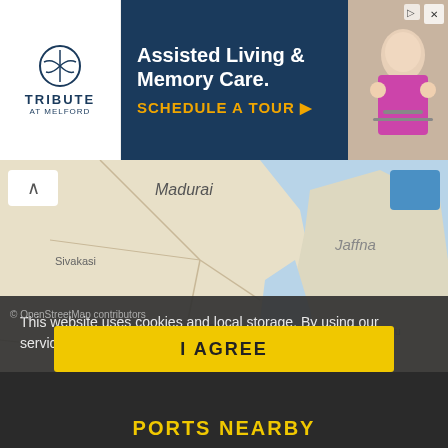[Figure (screenshot): Advertisement banner for Tribute at Melford assisted living and memory care, featuring logo on left, headline and CTA on dark blue background, and photo of elderly person on right]
[Figure (map): Marine traffic map showing the Palk Strait region between southern India (showing Madurai, Sivakasi, Thoothukkudi, Tirunelveli/Thiruvananthapuram) and Sri Lanka (showing Jaffna, Mullaitivu, Vavuniya, Anuradhapura, Puttalam). Multiple vessel icons (yellow and orange triangles, blue circles) are clustered near the Indian coast.]
This website uses cookies and local storage. By using our services, you agree to our use of cookies and local storage.
I AGREE